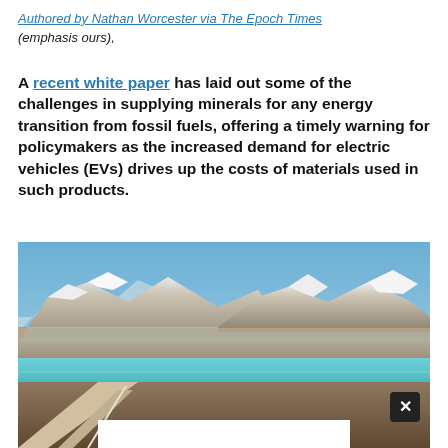Authored by Nathan Worcester via The Epoch Times (emphasis ours),
A recent white paper has laid out some of the challenges in supplying minerals for any energy transition from fossil fuels, offering a timely warning for policymakers as the increased demand for electric vehicles (EVs) drives up the costs of materials used in such products.
[Figure (photo): Aerial/ground-level photograph of a lithium brine evaporation pool in the Atacama Desert, Chile, with snow-capped Andean mountains in the background. The image shows the turquoise evaporation ponds, arid salt flats, and access roads in the foreground, with a white advertisement overlay box and a close button (X) in the lower portion.]